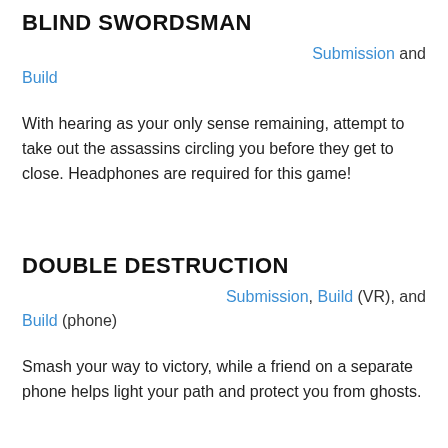BLIND SWORDSMAN
Submission and Build
With hearing as your only sense remaining, attempt to take out the assassins circling you before they get to close. Headphones are required for this game!
DOUBLE DESTRUCTION
Submission, Build (VR), and Build (phone)
Smash your way to victory, while a friend on a separate phone helps light your path and protect you from ghosts.